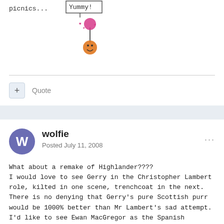picnics...
[Figure (illustration): Yummy! speech bubble above a small pixel-art emoji character holding a lollipop]
Quote
wolfie
Posted July 11, 2008
What about a remake of Highlander????
I would love to see Gerry in the Christopher Lambert role, kilted in one scene, trenchcoat in the next. There is no denying that Gerry's pure Scottish purr would be 1000% better than Mr Lambert's sad attempt.
I'd like to see Ewan MacGregor as the Spanish swordsman, the role that suited Sean Connery. Don't know who's play the Kurgan???? any ideas about bad guys???
Edited July 11, 2008 by wolfie